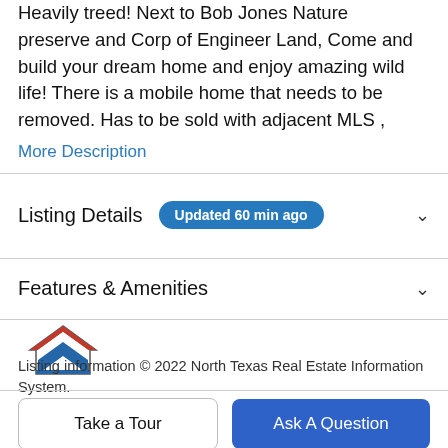Heavily treed! Next to Bob Jones Nature preserve and Corp of Engineer Land, Come and build your dream home and enjoy amazing wild life! There is a mobile home that needs to be removed. Has to be sold with adjacent MLS ,
More Description
Listing Details   Updated 60 min ago
Features & Amenities
[Figure (logo): NTREIS logo - house icon with red, white and blue stripes, text 'ntreis' below]
Listing information © 2022 North Texas Real Estate Information System.
Take a Tour
Ask A Question